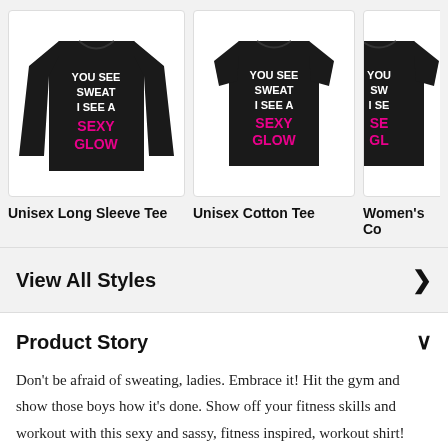[Figure (photo): Black long sleeve t-shirt with text 'YOU SEE SWEAT I SEE A SEXY GLOW' in white and pink]
Unisex Long Sleeve Tee
[Figure (photo): Black short sleeve t-shirt with text 'YOU SEE SWEAT I SEE A SEXY GLOW' in white and pink]
Unisex Cotton Tee
[Figure (photo): Partially visible black women's t-shirt with text 'YOU SEE SWEAT I SEE A SEXY GLOW' in white and pink]
Women's Co
View All Styles
Product Story
Don't be afraid of sweating, ladies. Embrace it! Hit the gym and show those boys how it's done. Show off your fitness skills and workout with this sexy and sassy, fitness inspired, workout shirt!